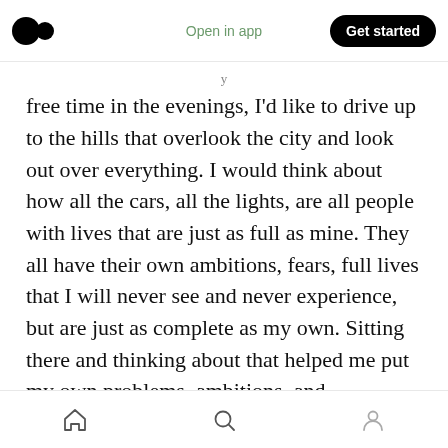Medium logo | Open in app | Get started
free time in the evenings, I'd like to drive up to the hills that overlook the city and look out over everything. I would think about how all the cars, all the lights, are all people with lives that are just as full as mine. They all have their own ambitions, fears, full lives that I will never see and never experience, but are just as complete as my own. Sitting there and thinking about that helped me put my own problems, ambitions, and selfishness in perspective. Those people will all have a life full of their own successes and disappointments. They are all the protagonists of
Home | Search | Profile